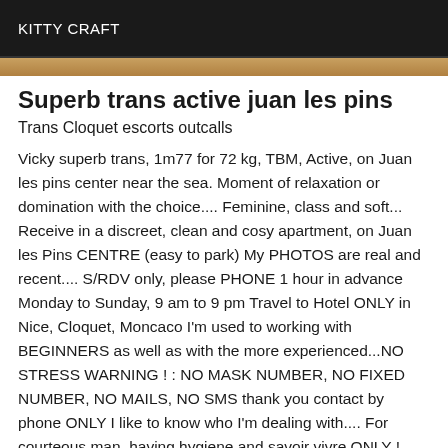KITTY CRAFT
Superb trans active juan les pins
Trans Cloquet escorts outcalls
Vicky superb trans, 1m77 for 72 kg, TBM, Active, on Juan les pins center near the sea. Moment of relaxation or domination with the choice.... Feminine, class and soft... Receive in a discreet, clean and cosy apartment, on Juan les Pins CENTRE (easy to park) My PHOTOS are real and recent.... S/RDV only, please PHONE 1 hour in advance Monday to Sunday, 9 am to 9 pm Travel to Hotel ONLY in Nice, Cloquet, Moncaco I'm used to working with BEGINNERS as well as with the more experienced...NO STRESS WARNING ! : NO MASK NUMBER, NO FIXED NUMBER, NO MAILS, NO SMS thank you contact by phone ONLY I like to know who I'm dealing with.... For courteous man, having hygiene and savoir vivre ONLY ! Discretion and Hygiene assured